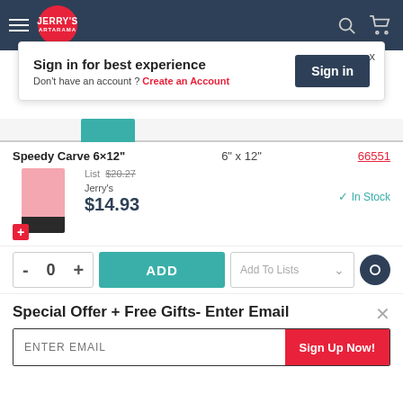[Figure (screenshot): Jerry's Artarama website header with logo, hamburger menu, search icon, and cart icon on dark blue background]
Sign in for best experience
Don't have an account ? Create an Account
Sign in
Speedy Carve 6×12"   6" x 12"   66551
[Figure (photo): Pink speedy carve block product image with dark bottom portion and red plus button]
List $20.27
Jerry's $14.93
In Stock
- 0 +
ADD
Add To Lists
Special Offer + Free Gifts- Enter Email
ENTER EMAIL
Sign Up Now!